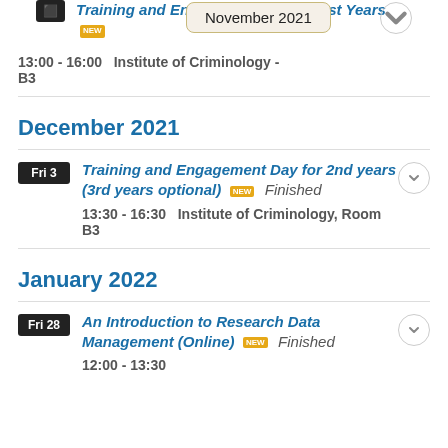Training and Engagement Day for 1st Years [NEW] — November 2021 tooltip
13:00 - 16:00   Institute of Criminology - B3
December 2021
Fri 3 — Training and Engagement Day for 2nd years (3rd years optional) [NEW]   Finished
13:30 - 16:30   Institute of Criminology, Room B3
January 2022
Fri 28 — An Introduction to Research Data Management (Online) [NEW]   Finished
12:00 - 13:30